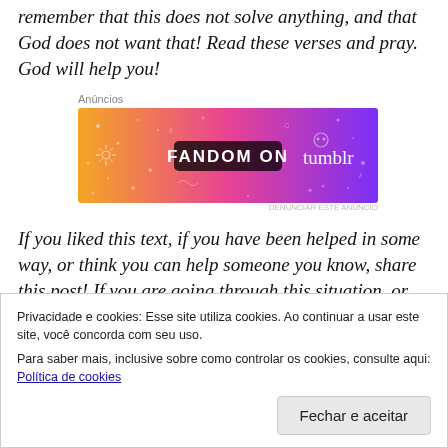remember that this does not solve anything, and that God does not want that! Read these verses and pray. God will help you!
[Figure (screenshot): Tumblr advertisement banner with orange-to-purple gradient background reading 'FANDOM ON tumblr' with decorative white icons]
If you liked this text, if you have been helped in some way, or think you can help someone you know, share this post! If you are going through this situation, or just want to leave some thoughts about it, comment!
Privacidade e cookies: Esse site utiliza cookies. Ao continuar a usar este site, você concorda com seu uso.
Para saber mais, inclusive sobre como controlar os cookies, consulte aqui: Política de cookies
Fechar e aceitar